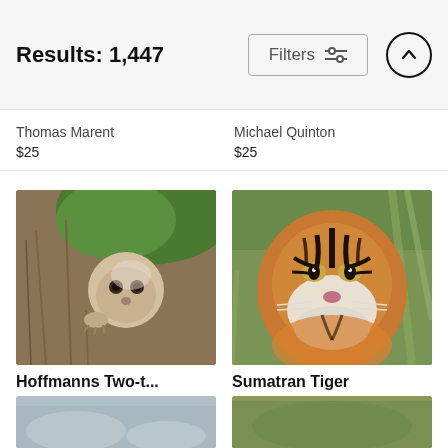Results: 1,447
Thomas Marent
$25
Michael Quinton
$25
[Figure (photo): A baby sloth clinging to its mother, surrounded by green leaves, photographed by Suzi Eszterhas]
Hoffmanns Two-t...
Suzi Eszterhas
$25
[Figure (photo): Close-up portrait of a Sumatran Tiger looking directly at the camera, taken at San Diego Zoo]
Sumatran Tiger
San Diego Zoo
$25
[Figure (photo): Partial view of wildlife photos at the bottom of the page, partially cropped]